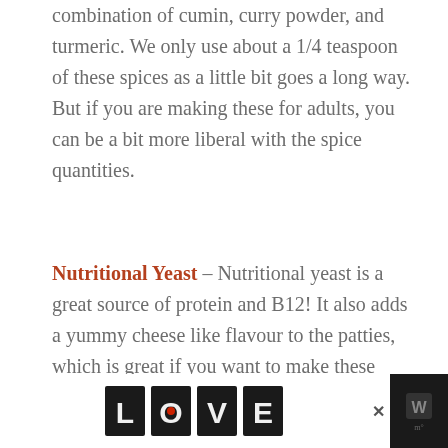combination of cumin, curry powder, and turmeric. We only use about a 1/4 teaspoon of these spices as a little bit goes a long way. But if you are making these for adults, you can be a bit more liberal with the spice quantities.
Nutritional Yeast – Nutritional yeast is a great source of protein and B12! It also adds a yummy cheese like flavour to the patties, which is great if you want to make these patties vegan.
HOW TO MAKE THIS RECIPE
[Figure (other): Advertisement banner with LOVE logo in decorative black and white art style, close button, and website icon on dark background]